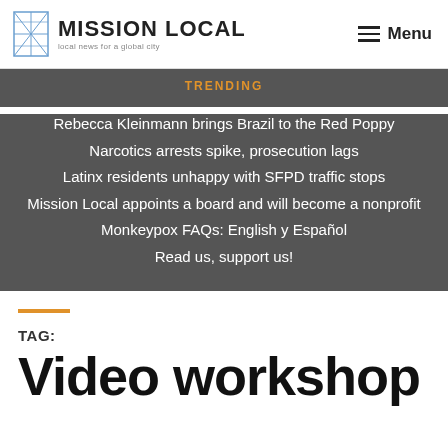MISSION LOCAL — local news for a global city | Menu
TRENDING
Rebecca Kleinmann brings Brazil to the Red Poppy
Narcotics arrests spike, prosecution lags
Latinx residents unhappy with SFPD traffic stops
Mission Local appoints a board and will become a nonprofit
Monkeypox FAQs: English y Español
Read us, support us!
TAG:
Video workshop